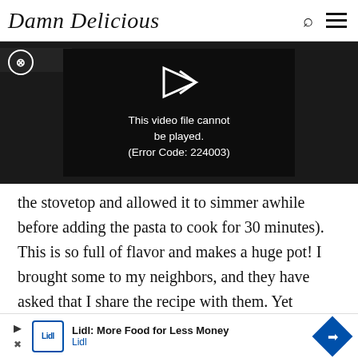Damn Delicious
[Figure (screenshot): Embedded video player showing error message: This video file cannot be played. (Error Code: 224003)]
the stovetop and allowed it to simmer awhile before adding the pasta to cook for 30 minutes). This is so full of flavor and makes a huge pot! I brought some to my neighbors, and they have asked that I share the recipe with them. Yet another WINNER from Ms. Chungah – thank you! 🙂
[Figure (screenshot): Advertisement banner: Lidl: More Food for Less Money – Lidl]